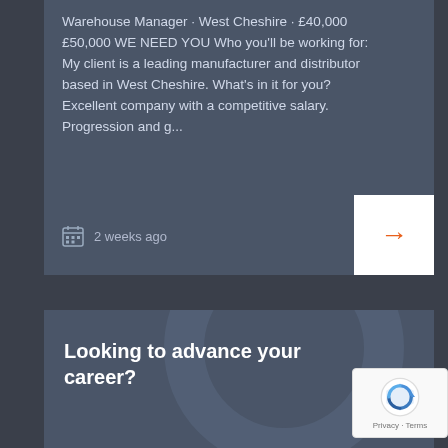Warehouse Manager · West Cheshire · £40,000 £50,000 WE NEED YOU Who you'll be working for: My client is a leading manufacturer and distributor based in West Cheshire. What's in it for you? Excellent company with a competitive salary. Progression and g...
2 weeks ago
Looking to advance your career?